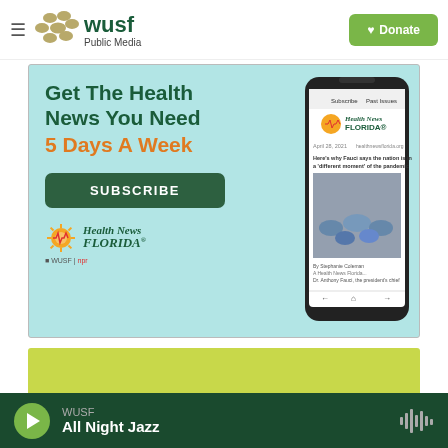WUSF Public Media — Donate
[Figure (screenshot): Health News Florida newsletter advertisement. Teal/cyan background. Text: 'Get The Health News You Need 5 Days A Week' with a green SUBSCRIBE button and Health News Florida logo. Shows a smartphone displaying the Health News Florida newsletter.]
[Figure (other): Yellow-green partial banner below the ad]
WUSF
All Night Jazz